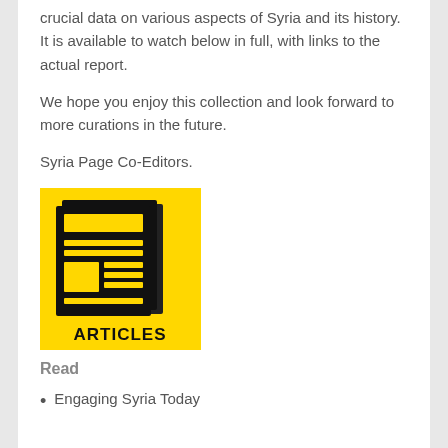crucial data on various aspects of Syria and its history. It is available to watch below in full, with links to the actual report.
We hope you enjoy this collection and look forward to more curations in the future.
Syria Page Co-Editors.
[Figure (illustration): Yellow square icon with black newspaper/articles graphic. Text at bottom reads ARTICLES in bold black capital letters.]
Read
Engaging Syria Today